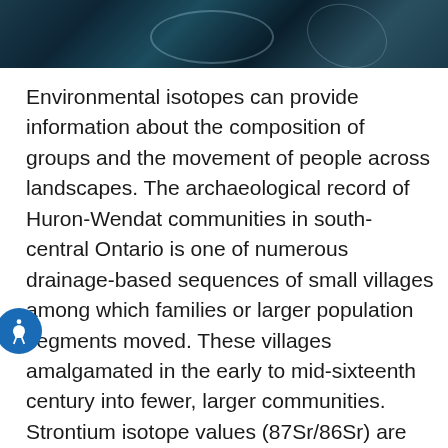[Figure (photo): Dark teal/blue aerial or underwater photograph showing abstract landscape or water surface with faint circular outline visible]
Environmental isotopes can provide information about the composition of groups and the movement of people across landscapes. The archaeological record of Huron-Wendat communities in south-central Ontario is one of numerous drainage-based sequences of small villages among which families or larger population segments moved. These villages amalgamated in the early to mid-sixteenth century into fewer, larger communities. Strontium isotope values (87Sr/86Sr) are used to test hypotheses about these early localized interactions and later amalgamations. There is little prior information about strontium values from this region which was recently glaciated and receives ample precipitation. From the late thirteenth century onward, ancestral Huron-